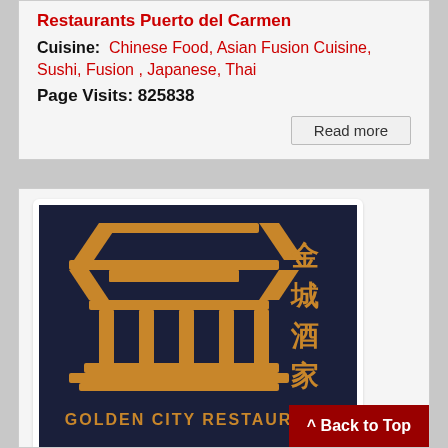Restaurants Puerto del Carmen
Cuisine: Chinese Food, Asian Fusion Cuisine, Sushi, Fusion, Japanese, Thai
Page Visits: 825838
Read more
[Figure (logo): Golden City Restaurant logo — dark navy background with large golden Chinese characters and text 'GOLDEN CITY RESTAURANT' at the bottom]
Golden City - Chinese C... Teguise Takeaway
^ Back to Top